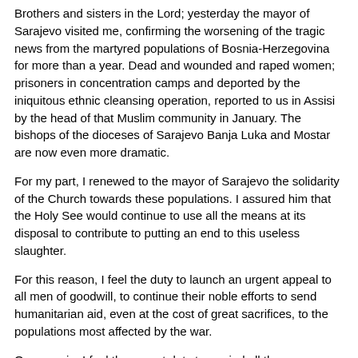Brothers and sisters in the Lord; yesterday the mayor of Sarajevo visited me, confirming the worsening of the tragic news from the martyred populations of Bosnia-Herzegovina for more than a year. Dead and wounded and raped women; prisoners in concentration camps and deported by the iniquitous ethnic cleansing operation, reported to us in Assisi by the head of that Muslim community in January. The bishops of the dioceses of Sarajevo Banja Luka and Mostar are now even more dramatic.
For my part, I renewed to the mayor of Sarajevo the solidarity of the Church towards these populations. I assured him that the Holy See would continue to use all the means at its disposal to contribute to putting an end to this useless slaughter.
For this reason, I feel the duty to launch an urgent appeal to all men of goodwill, to continue their noble efforts to send humanitarian aid, even at the cost of great sacrifices, to the populations most affected by the war.
Once again, I feel the urgent duty to remind all those responsible for the Balkan drama that the war of aggression is unworthy of man and cries out for vengeance before God; that the physical or moral destruction of the adversary is a crime; and that territorial conquest carried out with force is unacceptable.